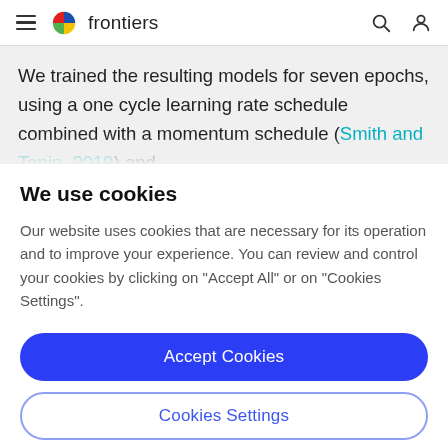frontiers
We trained the resulting models for seven epochs, using a one cycle learning rate schedule combined with a momentum schedule (Smith and Topin, 2019) and updating the weights of the neural network by Stochastic
We use cookies
Our website uses cookies that are necessary for its operation and to improve your experience. You can review and control your cookies by clicking on "Accept All" or on "Cookies Settings".
Accept Cookies
Cookies Settings